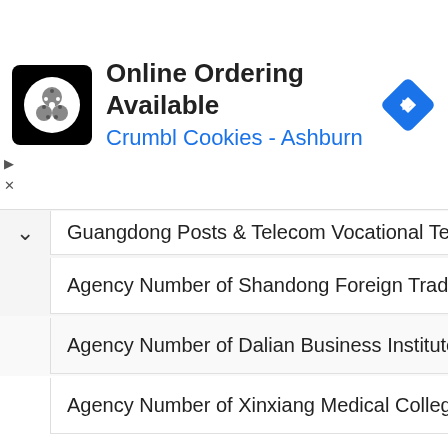[Figure (screenshot): Advertisement banner for Crumbl Cookies - Ashburn with online ordering available]
Guangdong Posts & Telecom Vocational Tech
Agency Number of Shandong Foreign Trade
Agency Number of Dalian Business Institute
Agency Number of Xinxiang Medical College
Agency Number of Manufacturing Technology
Agency Number of Luoyang Normal Universi
Agency Number of Harbin Power Vocation Te